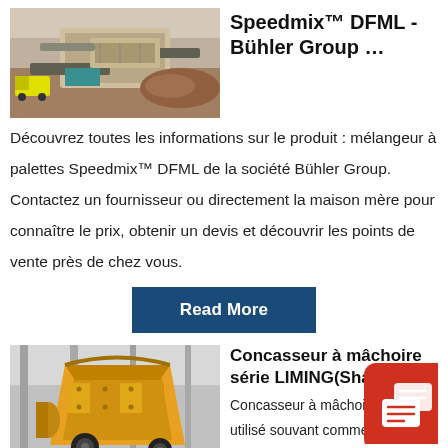[Figure (photo): Aerial view of industrial mining machinery / crusher equipment on site]
Speedmix™ DFML - Bühler Group …
Découvrez toutes les informations sur le produit : mélangeur à palettes Speedmix™ DFML de la société Bühler Group. Contactez un fournisseur ou directement la maison mère pour connaître le prix, obtenir un devis et découvrir les points de vente près de chez vous.
Read More
[Figure (photo): Yellow jaw crusher machine in industrial warehouse]
Concasseur à mâchoire série LIMING(Shang…
Concasseur à mâchoires est utilisé souvant comme le…